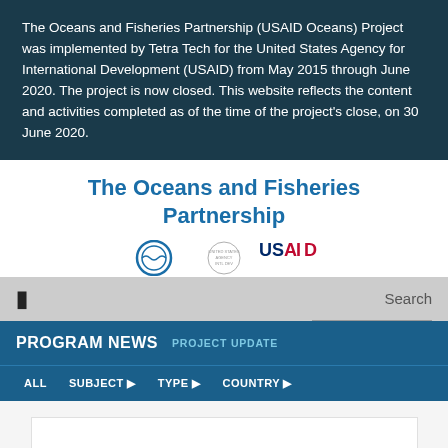The Oceans and Fisheries Partnership (USAID Oceans) Project was implemented by Tetra Tech for the United States Agency for International Development (USAID) from May 2015 through June 2020. The project is now closed. This website reflects the content and activities completed as of the time of the project's close, on 30 June 2020.
The Oceans and Fisheries Partnership
[Figure (logo): Logos for The Oceans and Fisheries Partnership and USAID]
PROGRAM NEWS  PROJECT UPDATE
ALL  SUBJECT  TYPE  COUNTRY